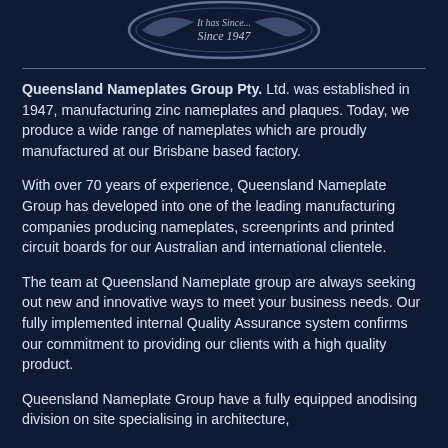[Figure (logo): Queensland Nameplates Group logo — circular badge with cursive text 'It has Since 1947' on a dark navy background]
Queensland Nameplates Group Pty. Ltd. was established in 1947, manufacturing zinc nameplates and plaques. Today, we produce a wide range of nameplates which are proudly manufactured at our Brisbane based factory.
With over 70 years of experience, Queensland Nameplate Group has developed into one of the leading manufacturing companies producing nameplates, screenprints and printed circuit boards for our Australian and international clientele.
The team at Queensland Nameplate group are always seeking out new and innovative ways to meet your business needs. Our fully implemented internal Quality Assurance system confirms our commitment to providing our clients with a high quality product.
Queensland Nameplate Group have a fully equipped anodising division on site specialising in architecture,